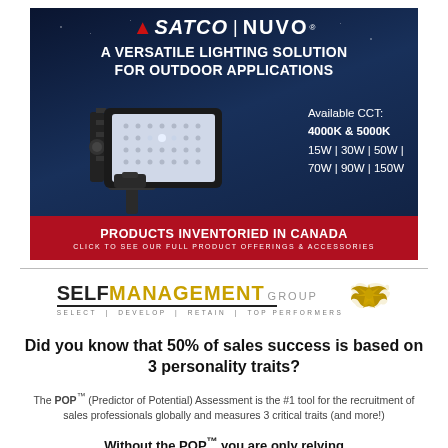[Figure (advertisement): Satco/Nuvo outdoor LED flood light advertisement on dark blue night background. Shows LED fixture, with specs: Available CCT: 4000K & 5000K, 15W | 30W | 50W | 70W | 90W | 150W. Red bar at bottom reads 'Products Inventoried in Canada. Click to see our full product offerings & accessories.']
[Figure (advertisement): Self Management Group advertisement. Logo with eagle. Headline: Did you know that 50% of sales success is based on 3 personality traits? Body: The POP™ (Predictor of Potential) Assessment is the #1 tool for the recruitment of sales professionals globally and measures 3 critical traits (and more!). Subhead: Without the POP™ you are only relying]